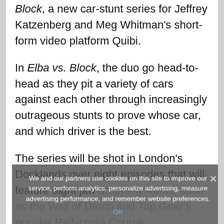Block, a new car-stunt series for Jeffrey Katzenberg and Meg Whitman's short-form video platform Quibi.
In Elba vs. Block, the duo go head-to-head as they pit a variety of cars against each other through increasingly outrageous stunts to prove whose car, and which driver is the best.
The series will be shot in London's Docklands over eight episodes that will feature eight jaw dropping stunts, such as the Wall of Death and Top Gear's popular Rallycross Course.
We and our partners use cookies on this site to improve our service, perform analytics, personalize advertising, measure advertising performance, and remember website preferences.